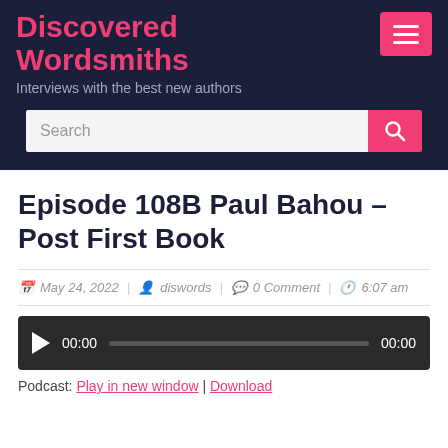Discovered Wordsmiths
Interviews with the best new authors
Episode 108B Paul Bahou – Post First Book
May 24, 2022 | diswords | 0 Comment | 6:07 am
[Figure (other): Audio player with play button, time 00:00, progress bar, and end time 00:00]
Podcast: Play in new window | Download